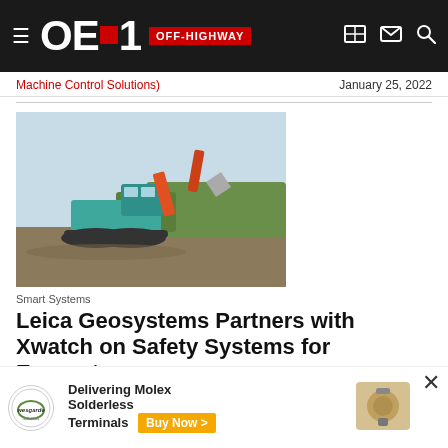OEM OFF-HIGHWAY
Machine Control Solutions)   January 25, 2022
[Figure (photo): A teal/blue excavator on a dirt construction site with green vegetation and sky in the background.]
Smart Systems
Leica Geosystems Partners with Xwatch on Safety Systems for Excavators
The Leica iCON PA80 safety awareness solution will be integrated with XWatch...
Leica Geo...  ...y 24, 2022
[Figure (infographic): Advertisement overlay: Wesgarde logo with text 'Delivering Molex Solderless Terminals Buy Now >' and a connector image on the right.]